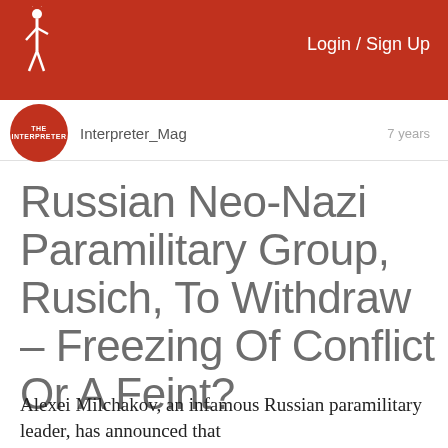Login / Sign Up
Interpreter_Mag   7 years
Russian Neo-Nazi Paramilitary Group, Rusich, To Withdraw – Freezing Of Conflict Or A Feint?
Alexei Milchakov, an infamous Russian paramilitary leader, has announced that